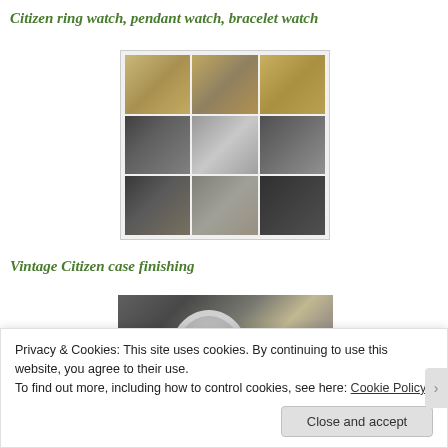Citizen ring watch, pendant watch, bracelet watch
[Figure (photo): 3x3 grid of vintage Citizen watch photos showing ring watch, pendant watch, and bracelet watch from various angles. Top row shows gold-toned watches, middle row shows silver/steel watches, bottom row shows darker watches.]
Vintage Citizen case finishing
[Figure (photo): Close-up photo of vintage Citizen watches showing case finishing details, including an open pocket watch with oval case, a wristwatch with elaborate dial, and bracelet components on a dark cloth background.]
Privacy & Cookies: This site uses cookies. By continuing to use this website, you agree to their use.
To find out more, including how to control cookies, see here: Cookie Policy
Close and accept